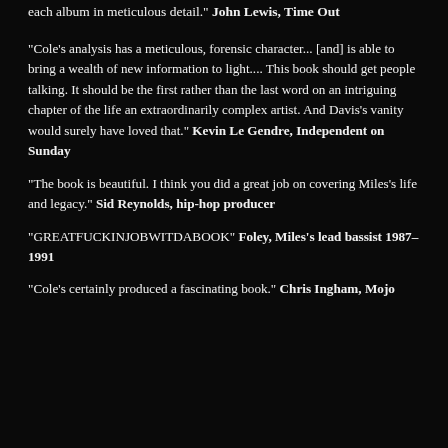each album in meticulous detail." John Lewis, Time Out
"Cole's analysis has a meticulous, forensic character... [and] is able to bring a wealth of new information to light.... This book should get people talking. It should be the first rather than the last word on an intriguing chapter of the life an extraordinarily complex artist. And Davis's vanity would surely have loved that." Kevin Le Gendre, Independent on Sunday
"The book is beautiful. I think you did a great job on covering Miles's life and legacy." Sid Reynolds, hip-hop producer
"GREATFUCKINJOBWITDABOOK" Foley, Miles's lead bassist 1987-1991
"Cole's certainly produced a fascinating book." Chris Ingham, Mojo